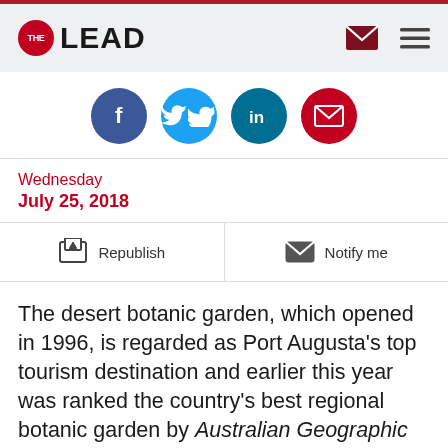THE LEAD
[Figure (infographic): Social share buttons: Facebook, Twitter, LinkedIn, Email]
Wednesday
July 25, 2018
Republish   Notify me
The desert botanic garden, which opened in 1996, is regarded as Port Augusta's top tourism destination and earlier this year was ranked the country's best regional botanic garden by Australian Geographic magazine.